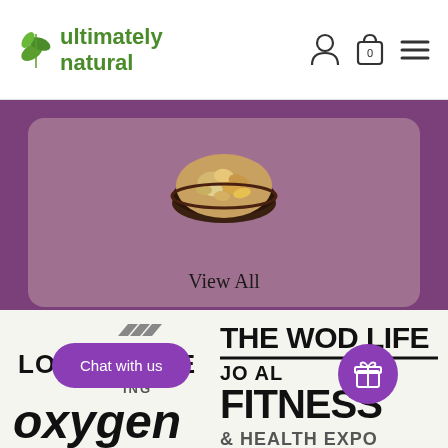ultimately natural - logo with navigation icons
[Figure (screenshot): E-commerce product section showing a bowl of mixed nuts on a mauve/purple card with 'View All' text, on a purple banner background]
View All
[Figure (logo): Lorna Jane activewear logo with three parallelogram shapes above the text]
[Figure (logo): The Wod Life Journal Fitness & Health Expo logos]
Chat with us
[Figure (other): Purple gift/reward button icon]